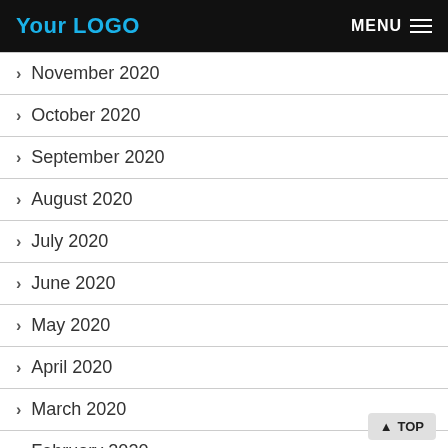Your LOGO   MENU
> November 2020
> October 2020
> September 2020
> August 2020
> July 2020
> June 2020
> May 2020
> April 2020
> March 2020
> February 2020
> January 2020